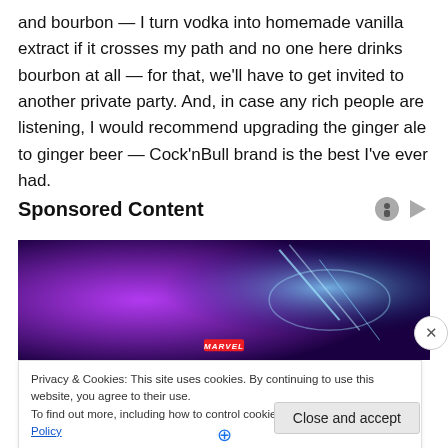and bourbon — I turn vodka into homemade vanilla extract if it crosses my path and no one here drinks bourbon at all — for that, we'll have to get invited to another private party. And, in case any rich people are listening, I would recommend upgrading the ginger ale to ginger beer — Cock'nBull brand is the best I've ever had.
Sponsored Content
[Figure (photo): Marvel promotional banner image with purple and blue lightning effects, showing a hand holding a hammer-like weapon. Has MARVEL logo at bottom center.]
Privacy & Cookies: This site uses cookies. By continuing to use this website, you agree to their use.
To find out more, including how to control cookies, see here: Cookie Policy
Close and accept